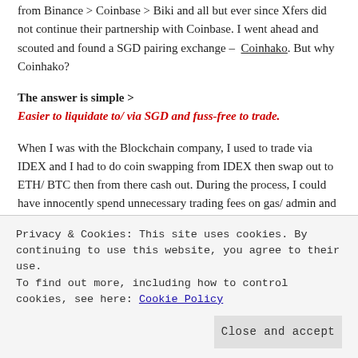from Binance > Coinbase > Biki and all but ever since Xfers did not continue their partnership with Coinbase. I went ahead and scouted and found a SGD pairing exchange – Coinhako. But why Coinhako?
The answer is simple >
Easier to liquidate to/ via SGD and fuss-free to trade.
When I was with the Blockchain company, I used to trade via IDEX and I had to do coin swapping from IDEX then swap out to ETH/ BTC then from there cash out. During the process, I could have innocently spend unnecessary trading fees on gas/ admin and etc.
But on Coinhako, I would just need to Signup > Verify and Link up
Privacy & Cookies: This site uses cookies. By continuing to use this website, you agree to their use.
To find out more, including how to control cookies, see here: Cookie Policy
Close and accept